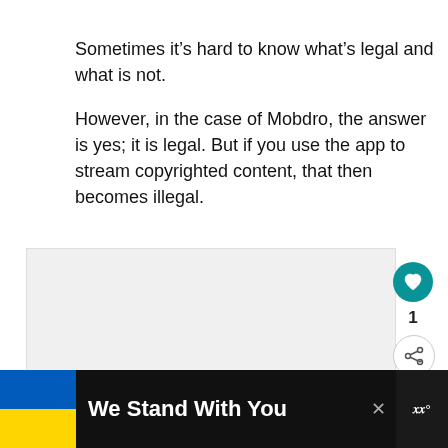Sometimes it’s hard to know what’s legal and what is not.
However, in the case of Mobdro, the answer is yes; it is legal. But if you use the app to stream copyrighted content, that then becomes illegal.
[Figure (screenshot): Embedded video or media player area with gray background, three dots, and a What's Next panel showing 'How To Install Spectrum A...' with a thumbnail.]
WHAT’S NEXT → How To Install Spectrum A...
[Figure (infographic): Footer banner with Ukraine flag colors (blue and yellow), text 'We Stand With You', close X button, and WW logo.]